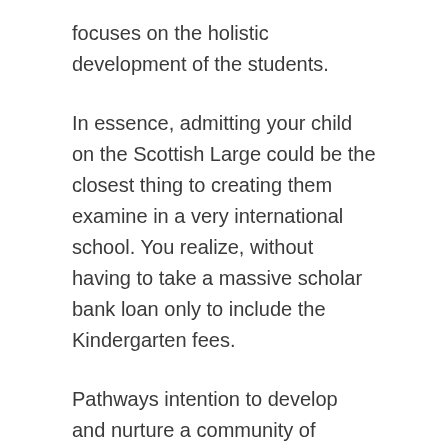focuses on the holistic development of the students.
In essence, admitting your child on the Scottish Large could be the closest thing to creating them examine in a very international school. You realize, without having to take a massive scholar bank loan only to include the Kindergarten fees.
Pathways intention to develop and nurture a community of imagining, compassionate earth citizens, who are dedicated to living with obligation, Mastering with enthusiasm and balancing a strong get the job done ethos with The best way of Enjoy.
It's no uncomplicated endeavor training young people, but these focused educators consider their Work severely and do anything of their electrical power to